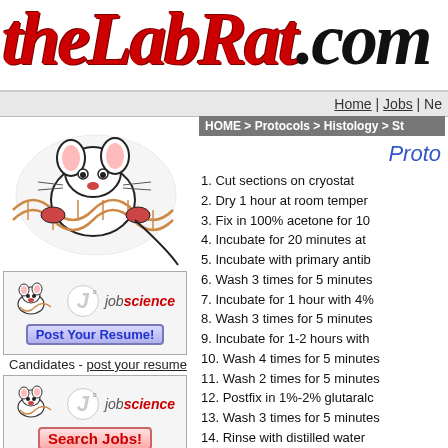[Figure (logo): theLabRat.com website logo in large red italic serif font with black .com]
Home | Jobs | Ne
HOME > Protocols > Histology > St
Proto
[Figure (illustration): Cartoon lab rat holding DNA double helix]
[Figure (illustration): Jobscience advertisement with logo and Post Your Resume button]
Candidates - post your resume
[Figure (illustration): Jobscience advertisement with logo and Search Jobs button]
Candidates - search jobs
1. Cut sections on cryostat
2. Dry 1 hour at room temper
3. Fix in 100% acetone for 10
4. Incubate for 20 minutes at
5. Incubate with primary antib
6. Wash 3 times for 5 minutes
7. Incubate for 1 hour with 4%
8. Wash 3 times for 5 minutes
9. Incubate for 1-2 hours with
10. Wash 4 times for 5 minutes
11. Wash 2 times for 5 minutes
12. Postfix in 1%-2% glutaralc
13. Wash 3 times for 5 minutes
14. Rinse with distilled water